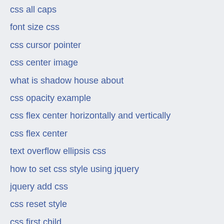css all caps
font size css
css cursor pointer
css center image
what is shadow house about
css opacity example
css flex center horizontally and vertically
css flex center
text overflow ellipsis css
how to set css style using jquery
jquery add css
css reset style
css first child
media query min and max